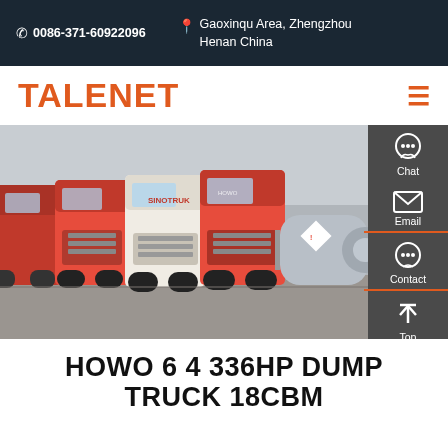☎ 0086-371-60922096  📍 Gaoxinqu Area, Zhengzhou Henan China
TALENET
[Figure (photo): Row of red and white HOWO trucks parked in a lot, viewed from the front-side angle. A sidebar with chat, email, contact, and top navigation icons is overlaid on the right side.]
HOWO 6 4 336HP DUMP TRUCK 18CBM